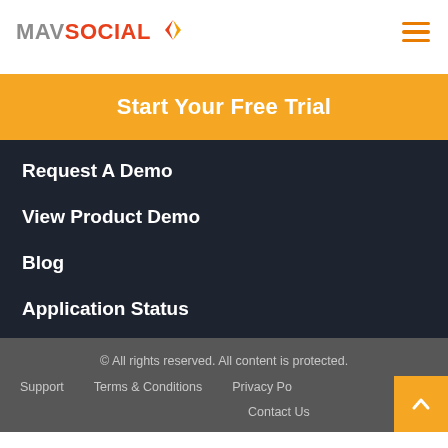MAVSOCIAL
Start Your Free Trial
Request A Demo
View Product Demo
Blog
Application Status
© All rights reserved. All content is protected. Support   Terms & Conditions   Privacy Policy   Contact Us